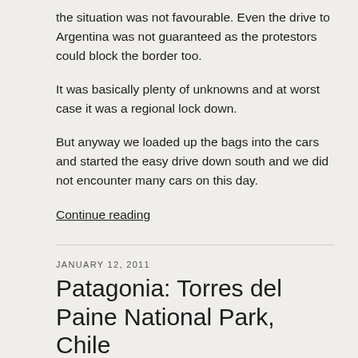the situation was not favourable. Even the drive to Argentina was not guaranteed as the protestors could block the border too.
It was basically plenty of unknowns and at worst case it was a regional lock down.
But anyway we loaded up the bags into the cars and started the easy drive down south and we did not encounter many cars on this day.
Continue reading
JANUARY 12, 2011
Patagonia: Torres del Paine National Park, Chile